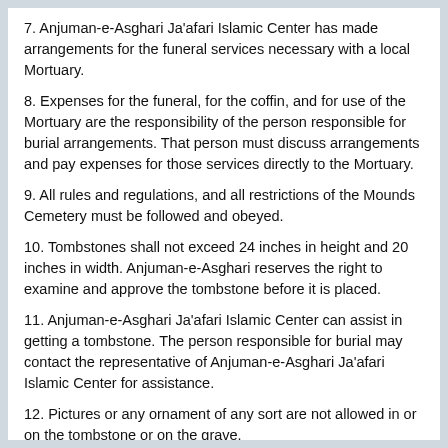7. Anjuman-e-Asghari Ja'afari Islamic Center has made arrangements for the funeral services necessary with a local Mortuary.
8. Expenses for the funeral, for the coffin, and for use of the Mortuary are the responsibility of the person responsible for burial arrangements. That person must discuss arrangements and pay expenses for those services directly to the Mortuary.
9. All rules and regulations, and all restrictions of the Mounds Cemetery must be followed and obeyed.
10. Tombstones shall not exceed 24 inches in height and 20 inches in width. Anjuman-e-Asghari reserves the right to examine and approve the tombstone before it is placed.
11. Anjuman-e-Asghari Ja'afari Islamic Center can assist in getting a tombstone. The person responsible for burial may contact the representative of Anjuman-e-Asghari Ja'afari Islamic Center for assistance.
12. Pictures or any ornament of any sort are not allowed in or on the tombstone or on the grave.
13. Flowers must be kept within the boundary of the grave.
14. No trees may be planted without prior permission of Anjuman-e-Asghari Ja'afari Islamic Center.